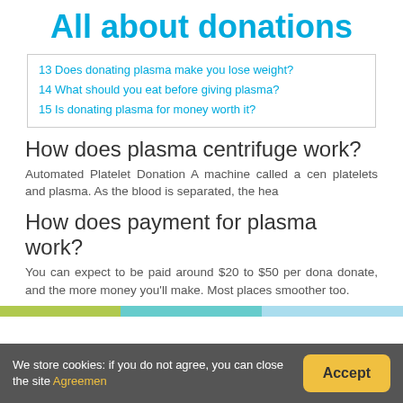All about donations
13 Does donating plasma make you lose weight?
14 What should you eat before giving plasma?
15 Is donating plasma for money worth it?
How does plasma centrifuge work?
Automated Platelet Donation A machine called a centrifuge separates platelets and plasma. As the blood is separated, the hea
How does payment for plasma work?
You can expect to be paid around $20 to $50 per donation. The more you donate, and the more money you'll make. Most places smoother too.
We store cookies: if you do not agree, you can close the site Agreemen